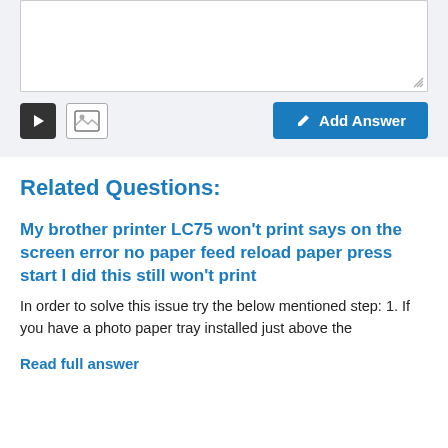[Figure (screenshot): Textarea input box with resize handle at bottom right]
[Figure (screenshot): Toolbar with video icon, image icon, and Add Answer button in blue]
Related Questions:
My brother printer LC75 won't print says on the screen error no paper feed reload paper press start I did this still won't print
In order to solve this issue try the below mentioned step: 1. If you have a photo paper tray installed just above the
Read full answer